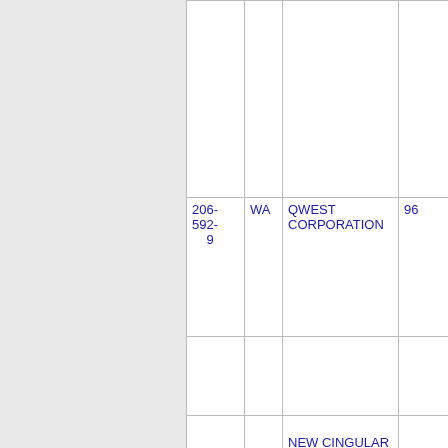| Phone | State | Company | Number |
| --- | --- | --- | --- |
|  |  |  |  |
| 206-592-9 | WA | QWEST CORPORATION | 96 |
|  |  |  |  |
| 206-627 | WA | NEW CINGULAR WIRELESS PCS, LLC | 60 |